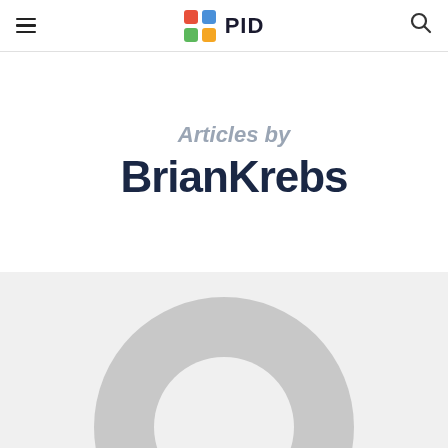PID
Articles by BrianKrebs
[Figure (illustration): Circular gray avatar placeholder image, showing a donut/ring shape in light gray on a light gray background, cropped at the bottom of the page]